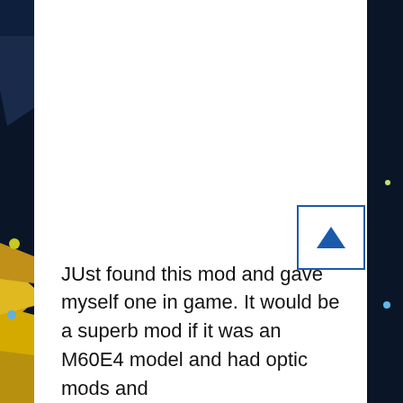[Figure (screenshot): Dark navy geometric/polygon background decorative sidebar on left and right edges of the page, with colored dots and triangular shapes. A white scroll-to-top button with a blue upward triangle arrow is positioned in the lower right of the content area. The upper portion of the content area is blank white.]
JUst found this mod and gave myself one in game. It would be a superb mod if it was an M60E4 model and had optic mods and